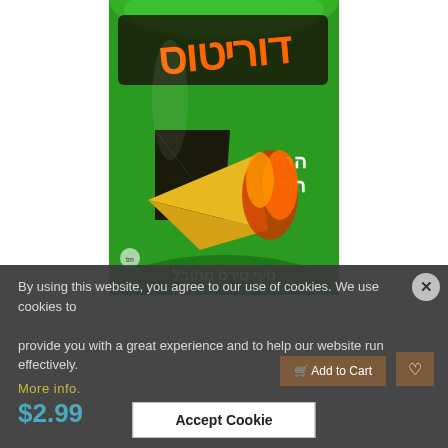[Figure (photo): Green bag of Doritos chips with Hebrew text, showing tortilla chips with flame design]
By using this website, you agree to our use of cookies. We use cookies to provide you with a great experience and to help our website run effectively.
More info.
$2.99
Accept Cookie